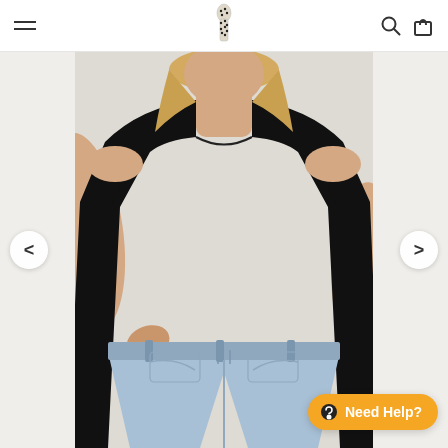[Figure (screenshot): E-commerce website header with hamburger menu, brand logo (dotted tie/pattern), search icon, and cart icon on white background]
[Figure (photo): Female model wearing a black short-sleeve crewneck bodysuit tucked into light blue high-waist jeans, posed with one hand on hip against a light grey background]
Need Help?